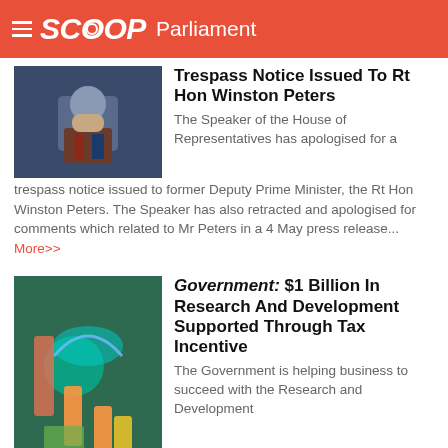SCOOP Parliament
Trespass Notice Issued To Rt Hon Winston Peters
The Speaker of the House of Representatives has apologised for a trespass notice issued to former Deputy Prime Minister, the Rt Hon Winston Peters. The Speaker has also retracted and apologised for comments which related to Mr Peters in a 4 May press release... More>>
Government: $1 Billion In Research And Development Supported Through Tax Incentive
The Government is helping business to succeed with the Research and Development Tax Incentive supporting an excess of $1 billion in research and development activity in New Zealand... More>>